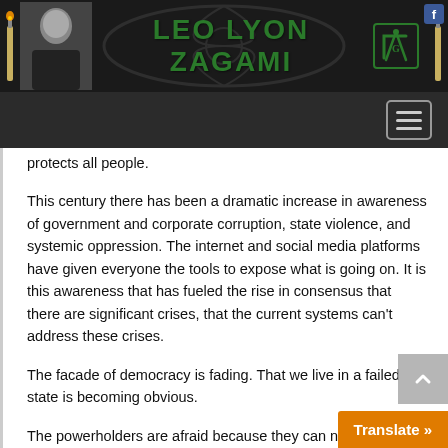[Figure (logo): Leo Lyon Zagami website header banner with photo of a bald man, green bold text reading LEO LYON ZAGAMI, masonic square and compass symbol, candle decorations, and freemasonry watermark]
Navigation bar with hamburger menu button
protects all people.
This century there has been a dramatic increase in awareness of government and corporate corruption, state violence, and systemic oppression. The internet and social media platforms have given everyone the tools to expose what is going on. It is this awareness that has fueled the rise in consensus that there are significant crises, that the current systems can't address these crises.
The facade of democracy is fading. That we live in a failed state is becoming obvious.
The powerholders are afraid because they can no longer control the narrative. Even those within their institutions, the corporate media, are bre